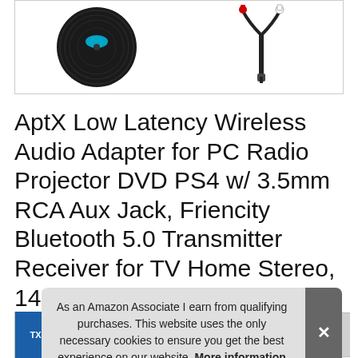[Figure (photo): Product image box showing a vinyl record-style Bluetooth device on the left and a 3.5mm RCA cable on the right, on a white background with a grey border]
AptX Low Latency Wireless Audio Adapter for PC Radio Projector DVD PS4 w/ 3.5mm RCA Aux Jack, Friencity Bluetooth 5.0 Transmitter Receiver for TV Home Stereo, 14H Playtime, Dual Str...
[Figure (photo): Thumbnail strip of product images at the bottom of the page, including a blue TX label thumbnail and various product shots]
As an Amazon Associate I earn from qualifying purchases. This website uses the only necessary cookies to ensure you get the best experience on our website. More information